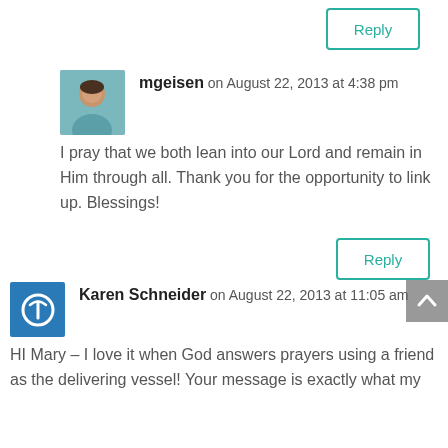[Figure (other): Reply button at top right]
mgeisen on August 22, 2013 at 4:38 pm
I pray that we both lean into our Lord and remain in Him through all. Thank you for the opportunity to link up. Blessings!
[Figure (other): Reply button below mgeisen comment]
Karen Schneider on August 22, 2013 at 11:05 am
HI Mary – I love it when God answers prayers using a friend as the delivering vessel! Your message is exactly what my